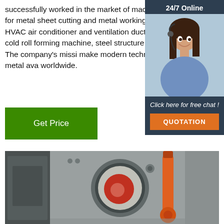successfully worked in the market of machine tools for metal sheet cutting and metal working machine, HVAC air conditioner and ventilation duct machine, cold roll forming machine, steel structure machine. The company's mission make modern technologies of metal ava worldwide.
[Figure (photo): Sidebar with 24/7 Online support agent photo and click here for free chat / quotation button]
Get Price
[Figure (photo): Industrial machine tool showing large circular metal component with orange hydraulic arm/cylinder]